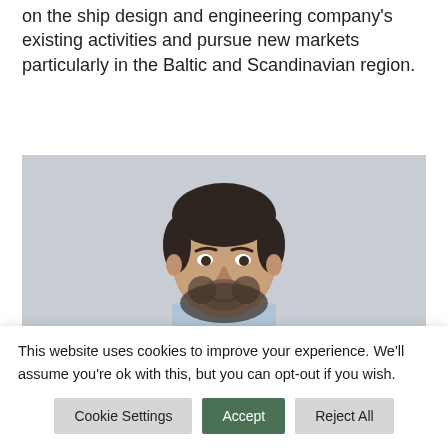on the ship design and engineering company's existing activities and pursue new markets particularly in the Baltic and Scandinavian region.
[Figure (photo): Portrait photo of a man with short dark hair and beard, wearing a light blue shirt, against a light grey background.]
This website uses cookies to improve your experience. We'll assume you're ok with this, but you can opt-out if you wish.